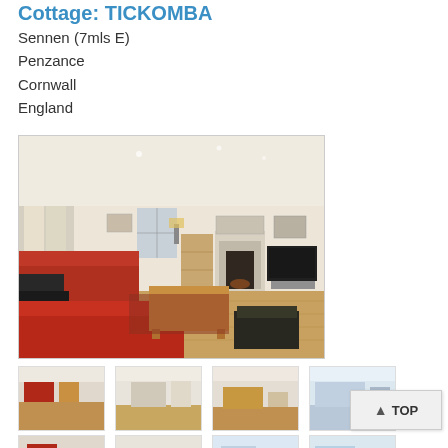Cottage: TICKOMBA
Sennen (7mls E)
Penzance
Cornwall
England
[Figure (photo): Interior living room photo showing red sofas, wooden coffee table, fireplace, TV, and hardwood floors]
[Figure (photo): Thumbnail 1 - interior room photo]
[Figure (photo): Thumbnail 2 - interior room photo]
[Figure (photo): Thumbnail 3 - interior room photo]
[Figure (photo): Thumbnail 4 - interior room photo]
[Figure (photo): Thumbnail 5 - interior room photo]
[Figure (photo): Thumbnail 6 - interior room photo]
[Figure (photo): Thumbnail 7 - interior room photo]
[Figure (photo): Thumbnail 8 - interior room photo]